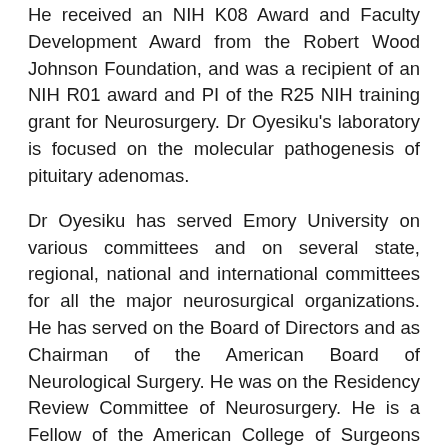He received an NIH K08 Award and Faculty Development Award from the Robert Wood Johnson Foundation, and was a recipient of an NIH R01 award and PI of the R25 NIH training grant for Neurosurgery. Dr Oyesiku's laboratory is focused on the molecular pathogenesis of pituitary adenomas.
Dr Oyesiku has served Emory University on various committees and on several state, regional, national and international committees for all the major neurosurgical organizations. He has served on the Board of Directors and as Chairman of the American Board of Neurological Surgery. He was on the Residency Review Committee of Neurosurgery. He is a Fellow of the American College of Surgeons and has served on its Board of Governors. Dr. Oyesiku has been President of the Congress of Neurological Surgeons and served on the Executive Committee of the CNS. He has served as Secretary/Treasurer and President of the Georgia Neurosurgical Society